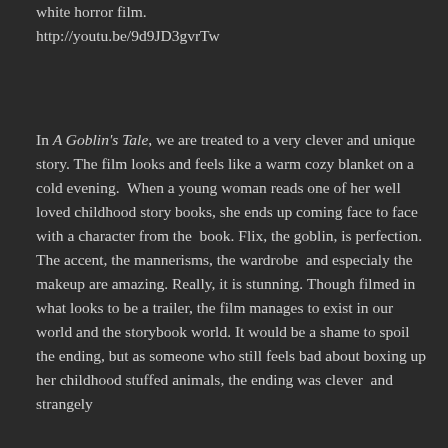white horror film.
http://youtu.be/9d9JD3gvrTw
In A Goblin's Tale, we are treated to a very clever and unique story. The film looks and feels like a warm cozy blanket on a cold evening.  When a young woman reads one of her well loved childhood story books, she ends up coming face to face with a character from the  book. Flix, the goblin, is perfection. The accent, the mannerisms, the wardrobe  and especialy the makeup are amazing. Really, it is stunning. Though filmed in what looks to be a trailer, the film manages to exist in our world and the storybook world. It would be a shame to spoil the ending, but as someone who still feels bad about boxing up her childhood stuffed animals, the ending was clever  and strangely